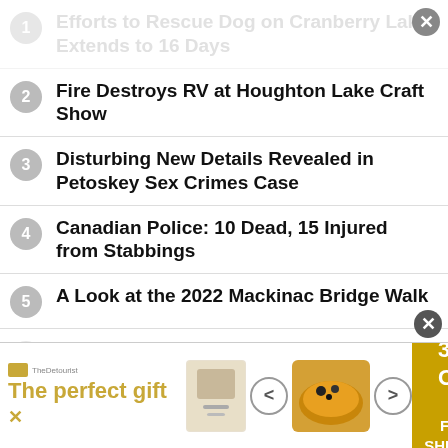1 Efforts to Rescue Dog on Cranberry Lake Extends to 16 Days
2 Fire Destroys RV at Houghton Lake Craft Show
3 Disturbing New Details Revealed in Petoskey Sex Crimes Case
4 Canadian Police: 10 Dead, 15 Injured from Stabbings
5 A Look at the 2022 Mackinac Bridge Walk
6 Mt. Pleasant Under Boil Water Advisory
[Figure (screenshot): Advertisement banner: The Detourist — The perfect gift, 35% OFF + FREE SHIPPING, with product images of food items and navigation arrows]